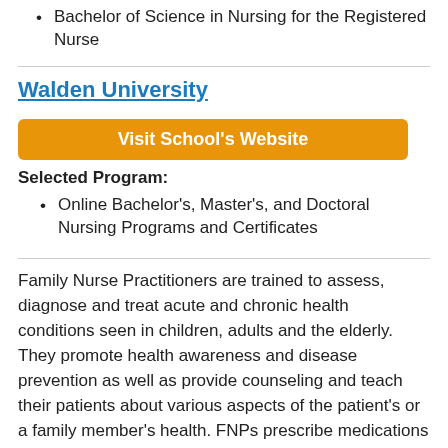Bachelor of Science in Nursing for the Registered Nurse
Walden University
Visit School's Website
Selected Program:
Online Bachelor's, Master's, and Doctoral Nursing Programs and Certificates
Family Nurse Practitioners are trained to assess, diagnose and treat acute and chronic health conditions seen in children, adults and the elderly. They promote health awareness and disease prevention as well as provide counseling and teach their patients about various aspects of the patient's or a family member's health. FNPs prescribe medications within their scope of